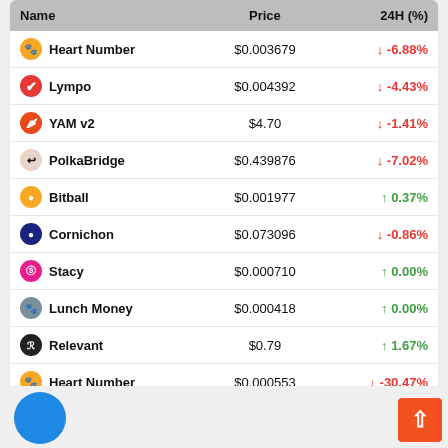| Name | Price | 24H (%) |
| --- | --- | --- |
| Heart Number | €0.000000 | ↓ -30.47% |
| DSLA Protocol | $0.003679 | ↓ -6.88% |
| Lympo | $0.004392 | ↓ -4.43% |
| YAM v2 | $4.70 | ↓ -1.41% |
| PolkaBridge | $0.439876 | ↓ -7.02% |
| Bitball | $0.001977 | ↑ 0.37% |
| Cornichon | $0.073096 | ↓ -0.86% |
| Stacy | $0.000710 | ↑ 0.00% |
| Lunch Money | $0.000418 | ↑ 0.00% |
| Relevant | $0.79 | ↑ 1.67% |
| Heart Number | $0.000553 | ↓ -30.47% |
[Figure (illustration): Orange back-to-top button with up arrow, and partial blue circle at bottom left]